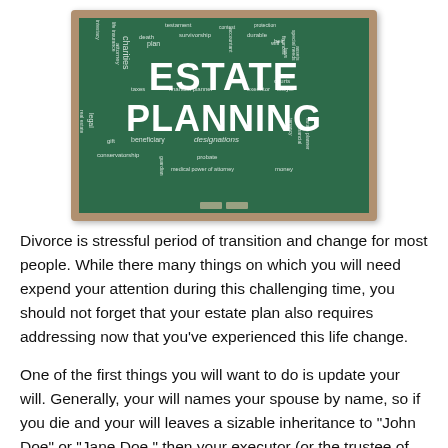[Figure (illustration): A chalkboard-style word cloud image centered on the phrase ESTATE PLANNING in large white letters, surrounded by smaller related legal/financial terms such as testament, survivorship, charities, plan, executor, beneficiary, probate, conservatorship, medical power of attorney, designations, durable, will, heir, lawyer, attorney, taxes, gift, money, courts, laws, assets, finances, special needs, guardian, tenancy, financial planner, life insurance, intestacy, death, real estate, legal, financial, estate planner, accountant, contest, protection. The chalkboard has a wooden/tan border and shows eraser marks at the bottom.]
Divorce is stressful period of transition and change for most people. While there many things on which you will need expend your attention during this challenging time, you should not forget that your estate plan also requires addressing now that you've experienced this life change.
One of the first things you will want to do is update your will. Generally, your will names your spouse by name, so if you die and your will leaves a sizable inheritance to "John Doe" or "Jane Doe," then your executor (or the trustee of your